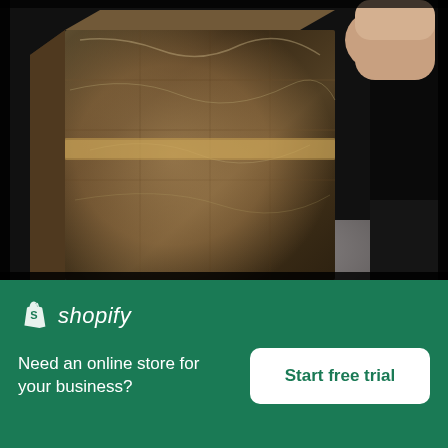[Figure (photo): Close-up of a taped up cardboard box wrapped in plastic, sitting on a surface, with a person's hand partially visible in the upper right corner. Dark/black background borders the image.]
Taped Up Cardboard Box With A Person Holding
[Figure (logo): Shopify logo: white shopping bag icon with 'S' and italic text 'shopify']
Need an online store for your business?
Start free trial